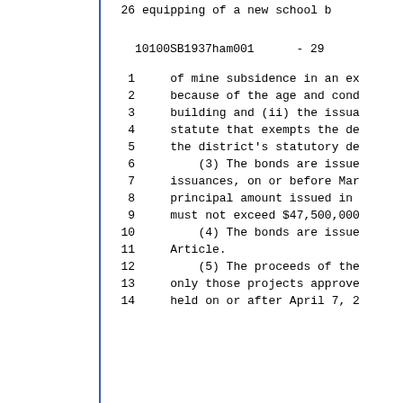26    equipping of a new school b
10100SB1937ham001    - 29
1    of mine subsidence in an ex
2    because of the age and cond
3    building and (ii) the issua
4    statute that exempts the de
5    the district's statutory de
6    (3) The bonds are issue
7    issuances, on or before Mar
8    principal amount issued in
9    must not exceed $47,500,000
10    (4) The bonds are issue
11    Article.
12    (5) The proceeds of the
13    only those projects approve
14    held on or after April 7, 2